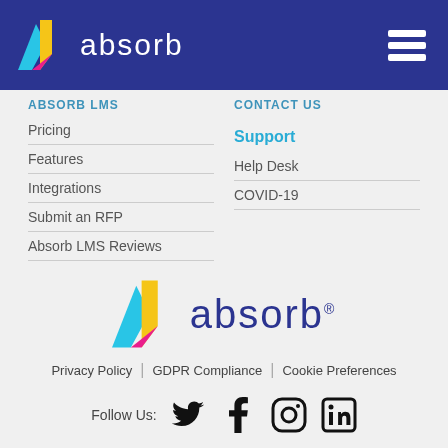absorb
Absorb LMS
Pricing
Features
Integrations
Submit an RFP
Absorb LMS Reviews
Contact Us
Support
Help Desk
COVID-19
[Figure (logo): Absorb LMS logo with colorful A icon and absorb text]
Privacy Policy | GDPR Compliance | Cookie Preferences
Follow Us: [Twitter] [Facebook] [Instagram] [LinkedIn]